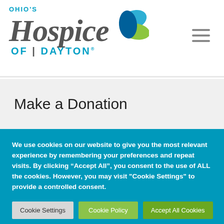[Figure (logo): Ohio's Hospice of Dayton logo with green and blue leaf graphic]
Make a Donation
We use cookies on our website to give you the most relevant experience by remembering your preferences and repeat visits. By clicking “Accept All”, you consent to the use of ALL the cookies. However, you may visit "Cookie Settings" to provide a controlled consent.